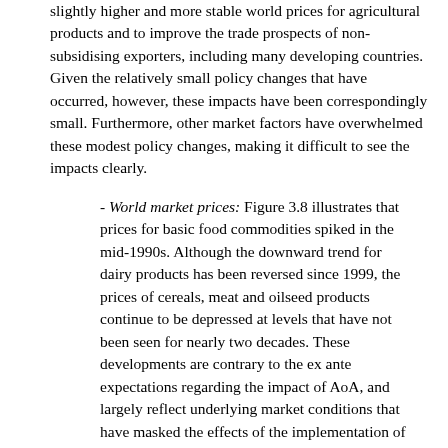slightly higher and more stable world prices for agricultural products and to improve the trade prospects of non-subsidising exporters, including many developing countries. Given the relatively small policy changes that have occurred, however, these impacts have been correspondingly small. Furthermore, other market factors have overwhelmed these modest policy changes, making it difficult to see the impacts clearly.
- World market prices: Figure 3.8 illustrates that prices for basic food commodities spiked in the mid-1990s. Although the downward trend for dairy products has been reversed since 1999, the prices of cereals, meat and oilseed products continue to be depressed at levels that have not been seen for nearly two decades. These developments are contrary to the ex ante expectations regarding the impact of AoA, and largely reflect underlying market conditions that have masked the effects of the implementation of AoA. However, as noted above, support and protection to agriculture continue at high levels, shielding producers from world price signals and adding further downward pressure to prices.